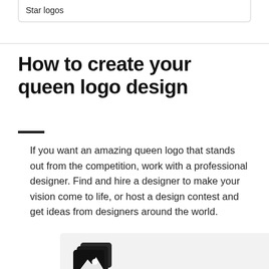Star logos
How to create your queen logo design
If you want an amazing queen logo that stands out from the competition, work with a professional designer. Find and hire a designer to make your vision come to life, or host a design contest and get ideas from designers around the world.
[Figure (illustration): Stack of photos/images icon, partially visible at bottom of page]